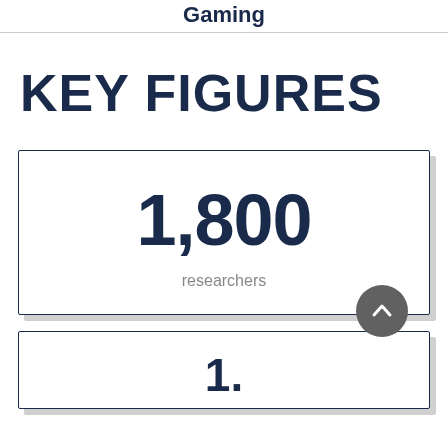Gaming
KEY FIGURES
1,800
researchers